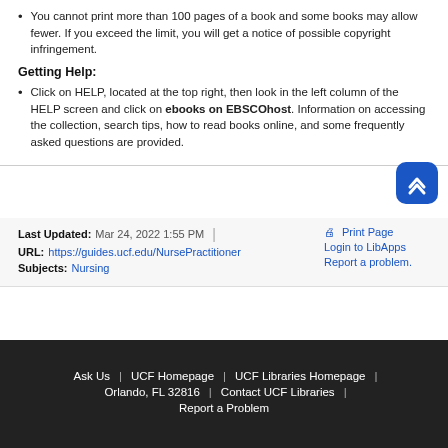You cannot print more than 100 pages of a book and some books may allow fewer. If you exceed the limit, you will get a notice of possible copyright infringement.
Getting Help:
Click on HELP, located at the top right, then look in the left column of the HELP screen and click on ebooks on EBSCOhost. Information on accessing the collection, search tips, how to read books online, and some frequently asked questions are provided.
Last Updated: Mar 24, 2022 1:55 PM
URL: https://guides.ucf.edu/NursePractitioner
Print Page
Login to LibApps
Report a problem.
Subjects: Nursing
Ask Us | UCF Homepage | UCF Libraries Homepage | Orlando, FL 32816 | Contact UCF Libraries | Report a Problem